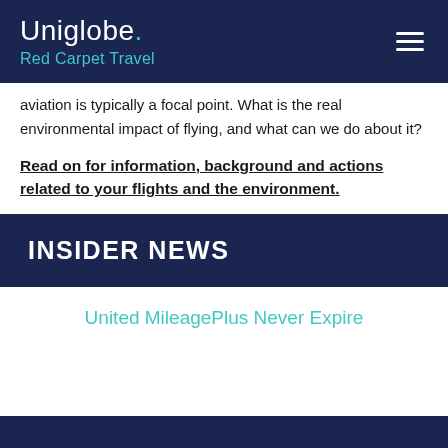Uniglobe. Red Carpet Travel
aviation is typically a focal point. What is the real environmental impact of flying, and what can we do about it?
Read on for information, background and actions related to your flights and the environment.
INSIDER NEWS
United MileagePlus Never Expire